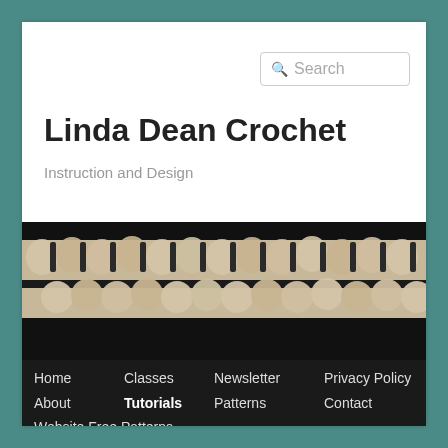Linda Dean Crochet
Instruction and Design
[Figure (photo): Close-up photo of beige/cream crochet stitches on black background, showing textured yarn work]
Home
Classes
Newsletter
Privacy Policy
About
Tutorials
Patterns
Contact
Website Free Patterns